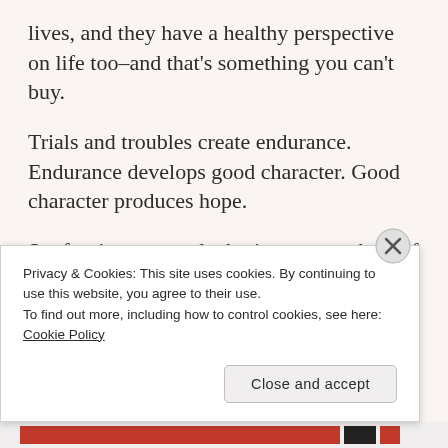lives, and they have a healthy perspective on life too–and that's something you can't buy.
Trials and troubles create endurance. Endurance develops good character. Good character produces hope.
So, forgive me an algebraic moment, but I if a = b and b = c, then a = c. Endurance produces hope. That's why it matters.
Our world is dark, and we face difficult circumstances daily: at work, at home, at school, at…
Privacy & Cookies: This site uses cookies. By continuing to use this website, you agree to their use.
To find out more, including how to control cookies, see here: Cookie Policy
Close and accept